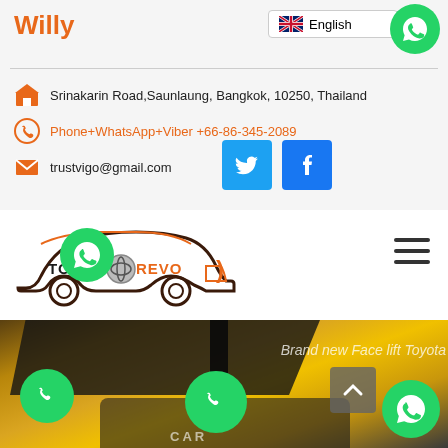Willy
English
Srinakarin Road,Saunlaung, Bangkok, 10250, Thailand
Phone+WhatsApp+Viber +66-86-345-2089
trustvigo@gmail.com
[Figure (logo): Toyota Revo logo with car silhouette outline in dark red/orange and Toyota emblem]
[Figure (photo): Yellow Toyota Revo pickup truck front view, partially showing grille and windshield with text 'Brand new Face lift Toyota']